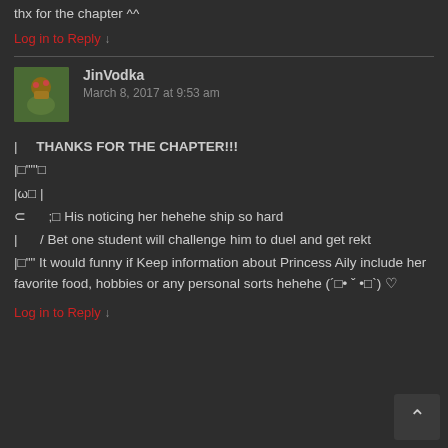interesting turn of event 😊
thx for the chapter ^^
Log in to Reply ↓
[Figure (other): Horizontal divider line]
[Figure (photo): User avatar for JinVodka - appears to be a cartoon/anime style illustration with green and brown colors]
JinVodka
March 8, 2017 at 9:53 am
|    THANKS FOR THE CHAPTER!!!
|□""'□
|ω□ |
⊂      ;□ His noticing her hehehe ship so hard
|      / Bet one student will challenge him to duel and get rekt
|□"" It would funny if Keep information about Princess Aily include her favorite food, hobbies or any personal sorts hehehe (´□• ˇ •□`) ♡
Log in to Reply ↓